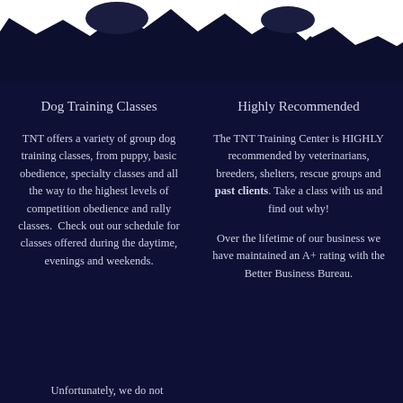[Figure (photo): Black and white silhouette image of dogs at the top of the page against a dark background with jagged torn-paper edge effect at the bottom]
Dog Training Classes
TNT offers a variety of group dog training classes, from puppy, basic obedience, specialty classes and all the way to the highest levels of competition obedience and rally classes.  Check out our schedule for classes offered during the daytime, evenings and weekends.
Unfortunately, we do not
Highly Recommended
The TNT Training Center is HIGHLY recommended by veterinarians, breeders, shelters, rescue groups and past clients. Take a class with us and find out why!
Over the lifetime of our business we have maintained an A+ rating with the Better Business Bureau.